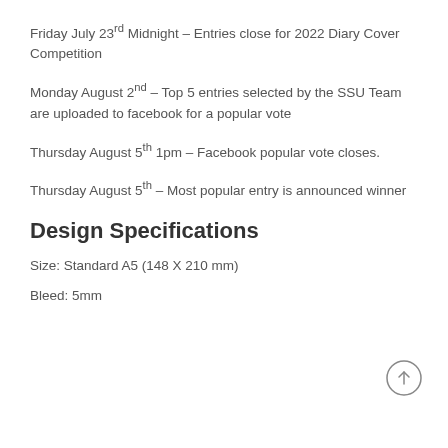Friday July 23rd Midnight – Entries close for 2022 Diary Cover Competition
Monday August 2nd – Top 5 entries selected by the SSU Team are uploaded to facebook for a popular vote
Thursday August 5th 1pm – Facebook popular vote closes.
Thursday August 5th – Most popular entry is announced winner
Design Specifications
Size: Standard A5 (148 X 210 mm)
Bleed: 5mm